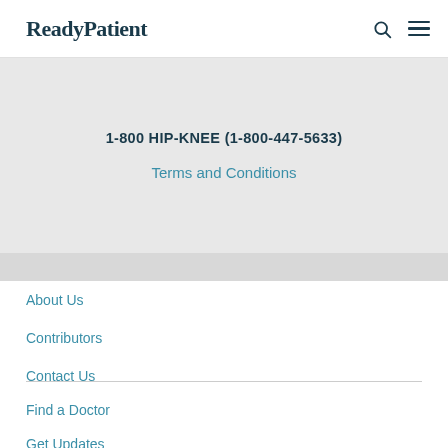ReadyPatient
1-800 HIP-KNEE (1-800-447-5633)
Terms and Conditions
About Us
Contributors
Contact Us
Find a Doctor
Get Updates